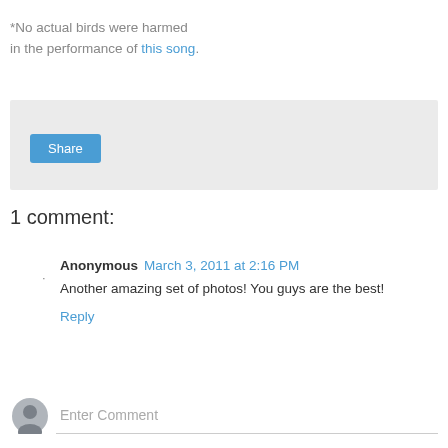*No actual birds were harmed in the performance of this song.
[Figure (other): Share widget area with a Share button on a light grey background]
1 comment:
Anonymous March 3, 2011 at 2:16 PM
Another amazing set of photos! You guys are the best!
Reply
Enter Comment